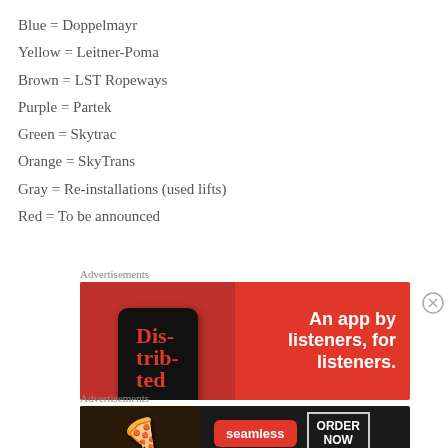Blue = Doppelmayr
Yellow = Leitner-Poma
Brown = LST Ropeways
Purple = Partek
Green = Skytrac
Orange = SkyTrans
Gray = Re-installations (used lifts)
Red = To be announced
[Figure (infographic): Red advertisement banner for a podcast app called 'Distributed' showing a phone mockup and text: 'An app by listeners, for listeners.']
[Figure (infographic): Dark advertisement banner for Seamless food delivery showing pizza image, Seamless logo, and 'ORDER NOW' button]